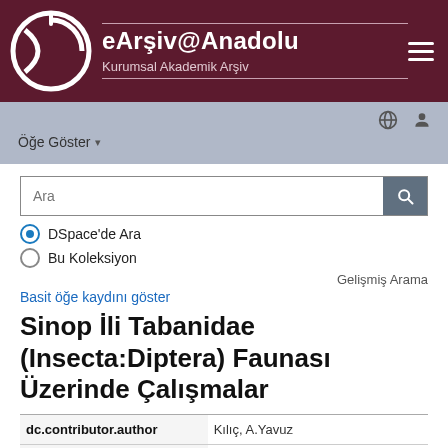eArşiv@Anadolu — Kurumsal Akademik Arşiv
Öğe Göster ▾
Ara (search input)
DSpace'de Ara
Bu Koleksiyon
Gelişmiş Arama
Basit öğe kaydını göster
Sinop İli Tabanidae (Insecta:Diptera) Faunası Üzerinde Çalışmalar
| Field | Value |
| --- | --- |
| dc.contributor.author | Kılıç, A.Yavuz |
| dc.date.accessioned | 2014-11-19T13:15:F17 |